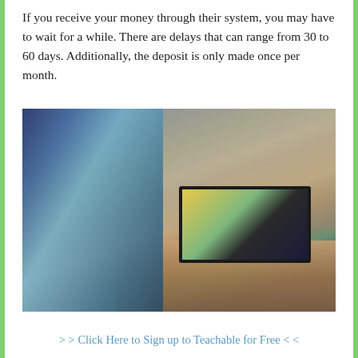If you receive your money through their system, you may have to wait for a while. There are delays that can range from 30 to 60 days. Additionally, the deposit is only made once per month.
[Figure (photo): A person viewed from behind sitting at a wooden desk in a classroom/office setting, using a laptop showing a video call with a woman on screen. A portable printer sits to the right on the desk. Chairs and tables are visible in the background.]
> > Click Here to Sign up to Teachable for Free < <